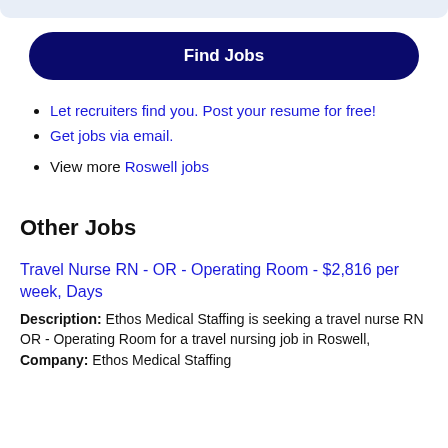Find Jobs
Let recruiters find you. Post your resume for free!
Get jobs via email.
View more Roswell jobs
Other Jobs
Travel Nurse RN - OR - Operating Room - $2,816 per week, Days
Description: Ethos Medical Staffing is seeking a travel nurse RN OR - Operating Room for a travel nursing job in Roswell,
Company: Ethos Medical Staffing